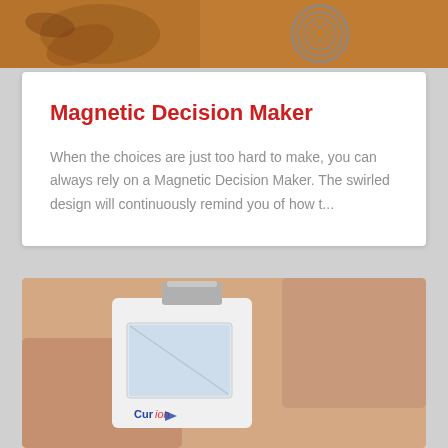[Figure (photo): Top strip image showing a magnetic swirl/spiral design on a warm autumn-toned background with what appears to be a decorative magnetic piece]
Magnetic Decision Maker
When the choices are just too hard to make, you can always rely on a Magnetic Decision Maker. The swirled design will continuously remind you of how t...
[Figure (photo): Hands holding open a small white Curion branded device/case with a metallic clip, showing the inner compartment]